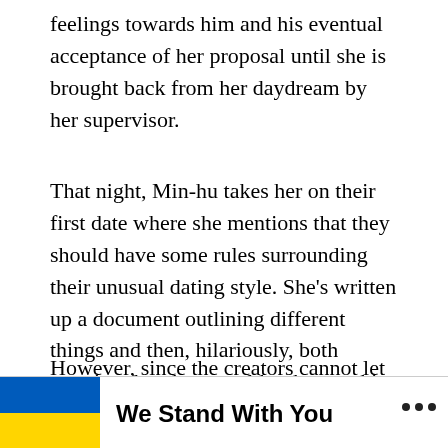feelings towards him and his eventual acceptance of her proposal until she is brought back from her daydream by her supervisor.
That night, Min-hu takes her on their first date where she mentions that they should have some rules surrounding their unusual dating style. She's written up a document outlining different things and then, hilariously, both mention that they would rather not kiss each other – considering everything that has happened over the past few days.
However, since the creators cannot let people be happy, Ji-young gets there out of the blue and acts all... [whether he to... to date]
[Figure (infographic): Banner advertisement showing Ukrainian flag (blue and yellow) with bold text 'We Stand With You', a close button (×), and a logo at the right.]